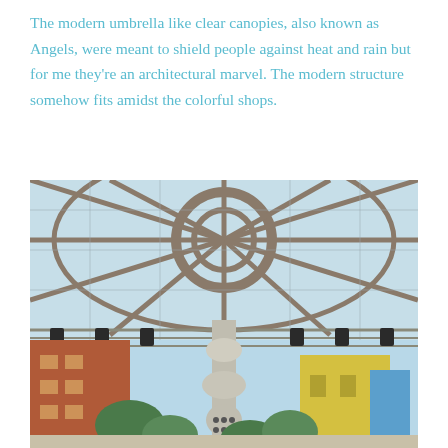The modern umbrella like clear canopies, also known as Angels, were meant to shield people against heat and rain but for me they're an architectural marvel. The modern structure somehow fits amidst the colorful shops.
[Figure (photo): Photograph taken from below looking up at a modern clear canopy structure (known as 'Angels') with radial metal struts extending from a central column, with stage lights hanging from the frame. Colorful shops and buildings visible in the background beneath the canopy.]